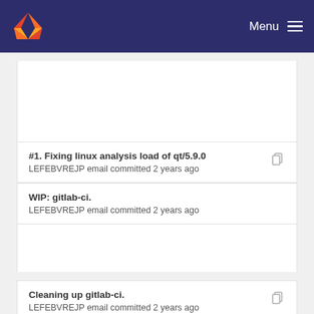Menu
#1. Fixing linux analysis load of qt/5.9.0
LEFEBVREJP email committed 2 years ago
WIP: gitlab-ci.
LEFEBVREJP email committed 2 years ago
Cleaning up gitlab-ci.
LEFEBVREJP email committed 2 years ago
WIP: gitlab-ci.
LEFEBVREJP email committed 2 years ago
#1. Fixing linux analysis enabling of rsmcore.
LEFEBVREJP email committed 2 years ago